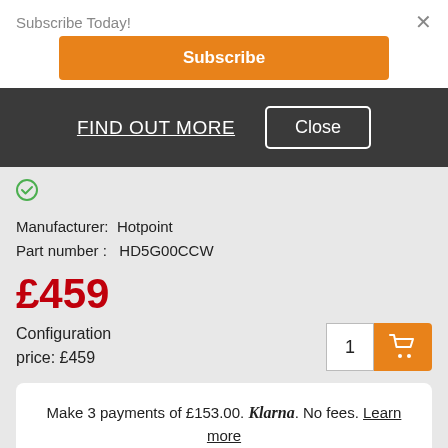Subscribe Today!
Subscribe
FIND OUT MORE
Close
Manufacturer:  Hotpoint
Part number :  HD5G00CCW
£459
Configuration price: £459
Make 3 payments of £153.00. Klarna. No fees. Learn more